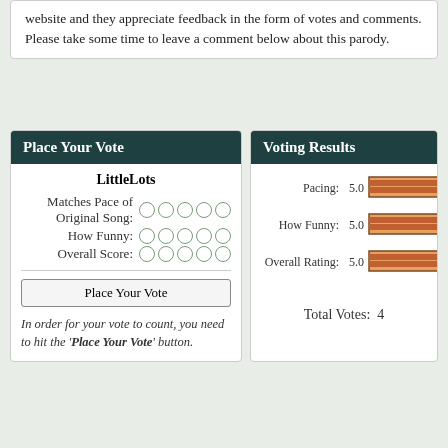website and they appreciate feedback in the form of votes and comments. Please take some time to leave a comment below about this parody.
Place Your Vote
LittleLots
Matches Pace of Original Song: (circles)
How Funny: (circles)
Overall Score: (circles)
Place Your Vote
In order for your vote to count, you need to hit the 'Place Your Vote' button.
Voting Results
[Figure (bar-chart): Voting Results]
Total Votes: 4